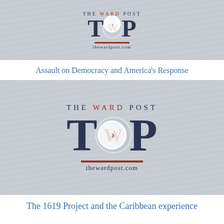[Figure (screenshot): The Ward Post logo thumbnail — TWP monogram with circular W emblem, 'THE WARD POST' text, horizontal red divider, and thewardpost.com URL on a grey manuscript background. Small play button visible at top.]
Assault on Democracy and America's Response
[Figure (screenshot): The Ward Post logo thumbnail — TWP monogram with circular W emblem, 'THE WARD POST' text, horizontal red divider, and thewardpost.com URL on a grey manuscript background. Play button in center.]
The 1619 Project and the Caribbean experience